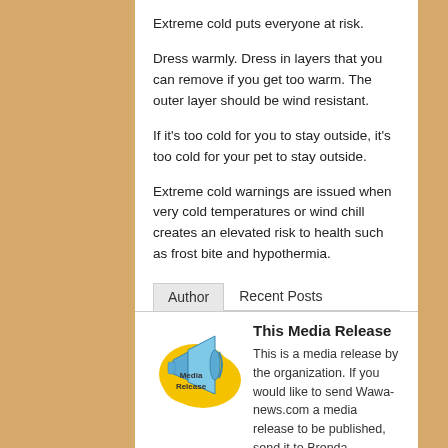Extreme cold puts everyone at risk.
Dress warmly. Dress in layers that you can remove if you get too warm. The outer layer should be wind resistant.
If it's too cold for you to stay outside, it's too cold for your pet to stay outside.
Extreme cold warnings are issued when very cold temperatures or wind chill creates an elevated risk to health such as frost bite and hypothermia.
Author   Recent Posts
[Figure (logo): Media Release logo: megaphone with yellow speech bubble saying 'Media Release']
This Media Release
This is a media release by the organization. If you would like to send Wawa-news.com a media release to be published, send it to Brenda Stockton, Editor/Publisher, brenda@wawa-